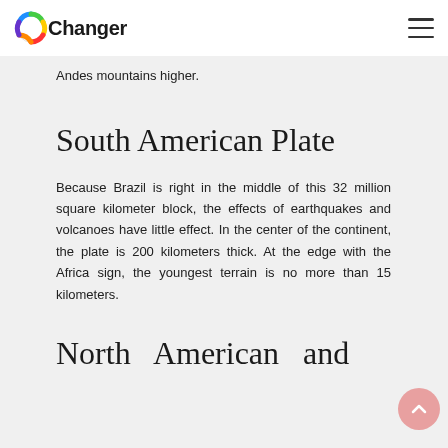IOChanger
Andes mountains higher.
South American Plate
Because Brazil is right in the middle of this 32 million square kilometer block, the effects of earthquakes and volcanoes have little effect. In the center of the continent, the plate is 200 kilometers thick. At the edge with the Africa sign, the youngest terrain is no more than 15 kilometers.
North American and